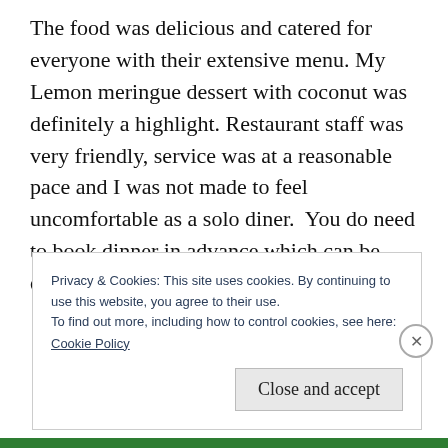The food was delicious and catered for everyone with their extensive menu. My Lemon meringue dessert with coconut was definitely a highlight. Restaurant staff was very friendly, service was at a reasonable pace and I was not made to feel uncomfortable as a solo diner.  You do need to book dinner in advance which can be done at the reception.
Privacy & Cookies: This site uses cookies. By continuing to use this website, you agree to their use.
To find out more, including how to control cookies, see here:
Cookie Policy
Close and accept